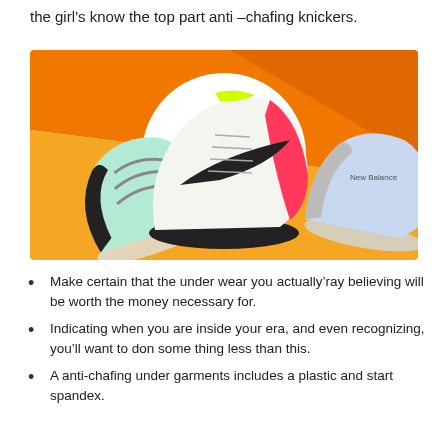the girl's know the top part anti –chafing knickers.
[Figure (photo): Three athletic sneakers displayed against an orange and yellow gradient background. Left shoe is a mint green running shoe, center is a white Nike sneaker with pink and black accents shown in a white circle, right is a light blue sneaker.]
Make certain that the under wear you actually'ray believing will be worth the money necessary for.
Indicating when you are inside your era, and even recognizing, you'll want to don some thing less than this.
A anti-chafing under garments includes a plastic and start spandex.